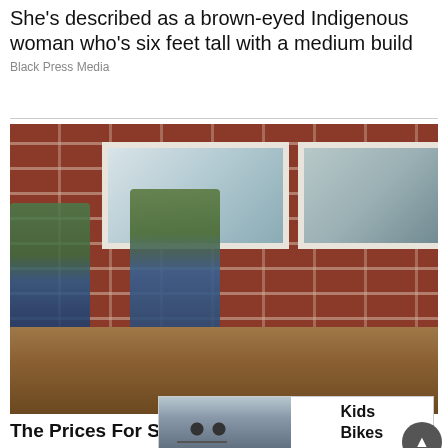She's described as a brown-eyed Indigenous woman who's six feet tall with a medium build
Black Press Media
[Figure (photo): Two workers kneeling and working near the brick foundation of a building, excavating dirt along the base of a red brick wall with white-framed windows.]
The Prices For Structural Foundation Repair
[Figure (photo): Advertisement banner showing a child riding a red bicycle on the left half, and the text 'Kids Bikes' on the right half.]